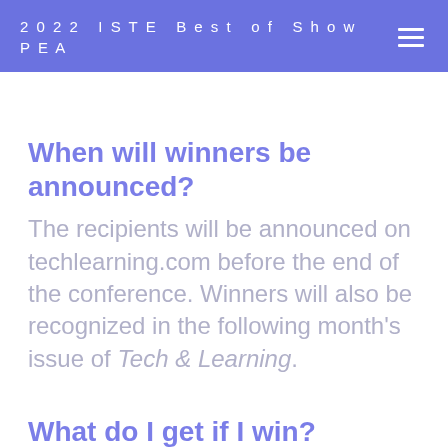2022 ISTE Best of Show PEA
When will winners be announced?
The recipients will be announced on techlearning.com before the end of the conference. Winners will also be recognized in the following month's issue of Tech & Learning.
What do I get if I win?
Winners of Tech & Learning's Best of Show at ISTE22 will receive an award certificate, the award seal graphic to be used in digital promotions, and a feature in the digital edition of Tech & Learning.